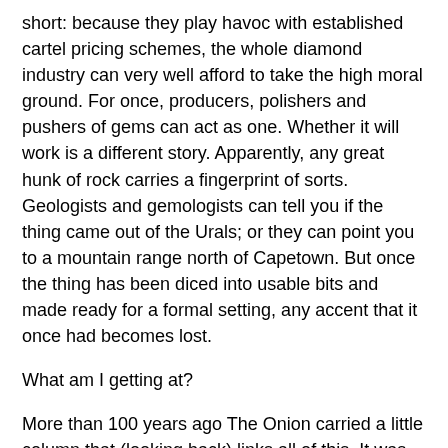short: because they play havoc with established cartel pricing schemes, the whole diamond industry can very well afford to take the high moral ground. For once, producers, polishers and pushers of gems can act as one. Whether it will work is a different story. Apparently, any great hunk of rock carries a fingerprint of sorts. Geologists and gemologists can tell you if the thing came out of the Urals; or they can point you to a mountain range north of Capetown. But once the thing has been diced into usable bits and made ready for a formal setting, any accent that it once had becomes lost.
What am I getting at?
More than 100 years ago The Onion carried a little column that (looking back) links all of this. It was the Europeans (particularly the British), in a misguided effort to redeem the "savage" and save his soul, who brought this disruption of the orderly diamond trade upon themselves. Were it not for busy-body missionaries the "savage" would not have learned how to mine the earth for its riches, he would not now be coveting his